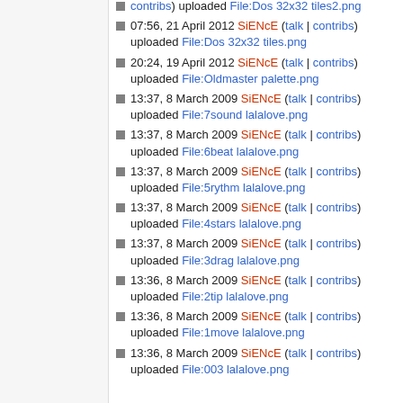contribs) uploaded File:Dos 32x32 tiles2.png
07:56, 21 April 2012 SiENcE (talk | contribs) uploaded File:Dos 32x32 tiles.png
20:24, 19 April 2012 SiENcE (talk | contribs) uploaded File:Oldmaster palette.png
13:37, 8 March 2009 SiENcE (talk | contribs) uploaded File:7sound lalalove.png
13:37, 8 March 2009 SiENcE (talk | contribs) uploaded File:6beat lalalove.png
13:37, 8 March 2009 SiENcE (talk | contribs) uploaded File:5rythm lalalove.png
13:37, 8 March 2009 SiENcE (talk | contribs) uploaded File:4stars lalalove.png
13:37, 8 March 2009 SiENcE (talk | contribs) uploaded File:3drag lalalove.png
13:36, 8 March 2009 SiENcE (talk | contribs) uploaded File:2tip lalalove.png
13:36, 8 March 2009 SiENcE (talk | contribs) uploaded File:1move lalalove.png
13:36, 8 March 2009 SiENcE (talk | contribs) uploaded File:003 lalalove.png